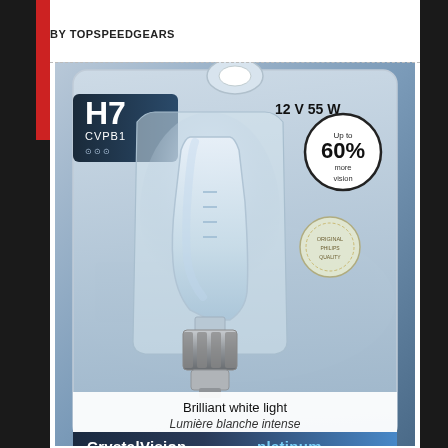BY TOPSPEEDGEARS
[Figure (photo): Product photo of Philips CrystalVision platinum H7 halogen bulb in blister packaging. The package shows: H7 CVPB1 label in upper left with dark blue/black background, '12 V 55 W' text in upper right, circular badge stating 'Up to 60% more vision', an original seal/stamp, the halogen bulb displayed in clear plastic blister, text 'Brilliant white light / Lumière blanche intense', and 'CrystalVision platinum' branding at the bottom with blue and white color scheme.]